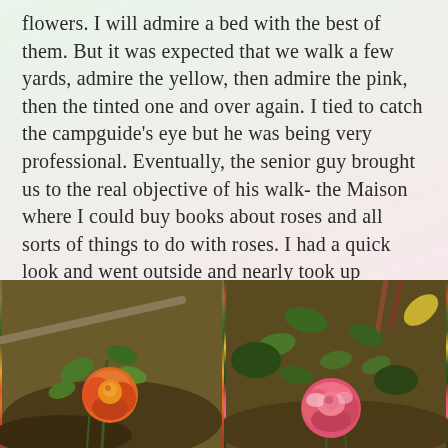flowers. I will admire a bed with the best of them. But it was expected that we walk a few yards, admire the yellow, then admire the pink, then the tinted one and over again. I tied to catch the campguide's eye but he was being very professional. Eventually, the senior guy brought us to the real objective of his walk- the Maison where I could buy books about roses and all sorts of things to do with roses. I had a quick look and went outside and nearly took up smoking with the guide.
[Figure (photo): Two side-by-side photos of roses in a garden. Left photo shows an orange/red rose with green foliage and dark soil. Right photo shows a pink/red rose with green leaves and brown soil background.]